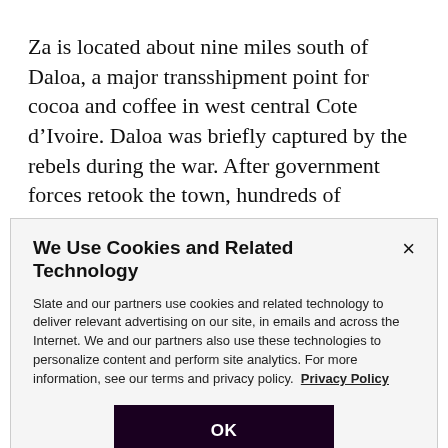Za is located about nine miles south of Daloa, a major transshipment point for cocoa and coffee in west central Cote d’Ivoire. Daloa was briefly captured by the rebels during the war. After government forces retook the town, hundreds of Burkinabe and Malian immigrants were allegedly massacred. One of Ouedraogo children was shot while in his store in Daloa. And yet Ouedraogo feels his children are ref…
We Use Cookies and Related Technology
Slate and our partners use cookies and related technology to deliver relevant advertising on our site, in emails and across the Internet. We and our partners also use these technologies to personalize content and perform site analytics. For more information, see our terms and privacy policy. Privacy Policy